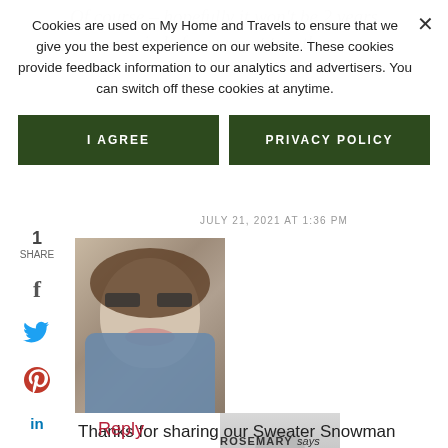Of course – hopefully it won't be 2 years again before we get together
Cookies are used on My Home and Travels to ensure that we give you the best experience on our website. These cookies provide feedback information to our analytics and advertisers. You can switch off these cookies at anytime.
I AGREE
PRIVACY POLICY
JULY 21, 2021 AT 1:36 PM
[Figure (photo): Photo of a woman with curly hair and glasses, smiling]
Thanks for sharing our Sweater Snowman project Rosemary! Hope your readers enjoy it!
Reply
ROSEMARY says
JULY 29, 2021 AT 7:20 PM
[Figure (photo): Gray avatar placeholder for Rosemary]